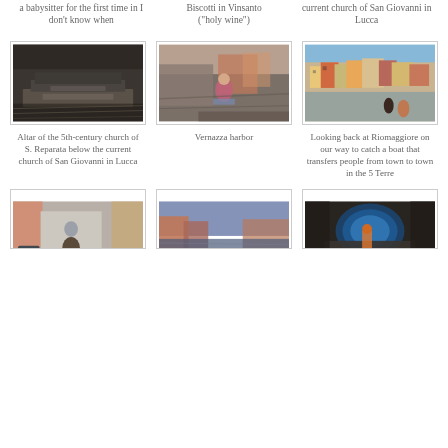a babysitter for the first time in I don't know when
Biscotti in Vinsanto ("holy wine")
current church of San Giovanni in Lucca
[Figure (photo): Interior of 5th-century church ruins, stone altar blocks, dark stone walls]
[Figure (photo): Woman sitting on rocky coastal cliffs at Vernazza harbor, colorful buildings in background]
[Figure (photo): Aerial/elevated view looking back at Riomaggiore village on the hillside, 5 Terre]
Altar of the 5th-century church of S. Reparata below the current church of San Giovanni in Lucca
Vernazza harbor
Looking back at Riomaggiore on our way to catch a boat that transfers people from town to town in the 5 Terre
[Figure (photo): Small church facade in a narrow Italian street with colorful buildings]
[Figure (photo): Harbor view with buildings and water, twilight or evening]
[Figure (photo): Tunnel passage lit with blue light, person walking through]